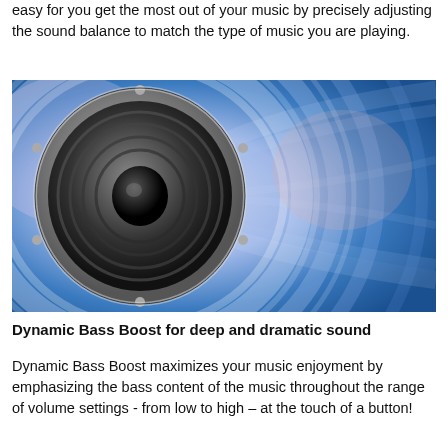easy for you get the most out of your music by precisely adjusting the sound balance to match the type of music you are playing.
[Figure (photo): Close-up photograph of a subwoofer/speaker with concentric sound wave rings emanating outward against a blue and purple blurred background.]
Dynamic Bass Boost for deep and dramatic sound
Dynamic Bass Boost maximizes your music enjoyment by emphasizing the bass content of the music throughout the range of volume settings - from low to high – at the touch of a button!